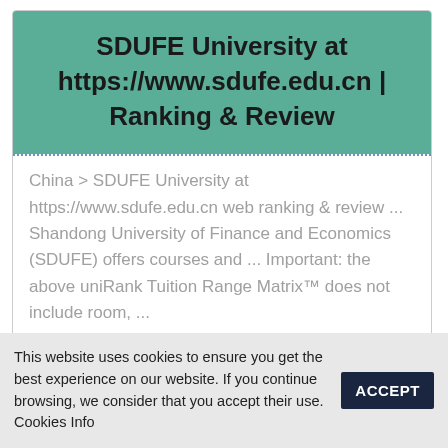SDUFE University at https://www.sdufe.edu.cn | Ranking & Review
China > SDUFE University at https://www.sdufe.edu.cn web ranking & review ... Shandong University of Finance and Economics (SDUFE) offers courses and ... Important: the above uniRank Tuition Range Matrix™ does not include room, ...
CHECK
This website uses cookies to ensure you get the best experience on our website. If you continue browsing, we consider that you accept their use. Cookies Info